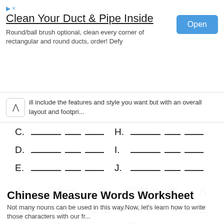[Figure (other): Advertisement banner: 'Clean Your Duct & Pipe Inside' with Open button]
ill include the features and style you want but with an overall layout and footpri...
C. ___ ___ ___    H. ___ ___ ___
D. ___ ___ ___    I. ___ ___ ___
E. ___ ___ ___    J. ___ ___ ___
面   二十一   个   背包   张   八
国旗   两   十三   椅子   七十三
Chinese Measure Words Worksheet
Not many nouns can be used in this way.Now, let's learn how to write those characters with our fr...